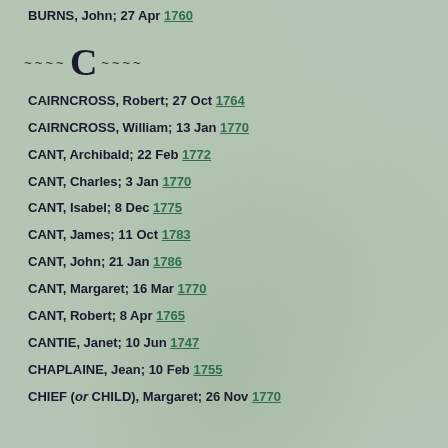BURNS, John; 27 Apr 1760
~~~~ C ~~~~
CAIRNCROSS, Robert; 27 Oct 1764
CAIRNCROSS, William; 13 Jan 1770
CANT, Archibald; 22 Feb 1772
CANT, Charles; 3 Jan 1770
CANT, Isabel; 8 Dec 1775
CANT, James; 11 Oct 1783
CANT, John; 21 Jan 1786
CANT, Margaret; 16 Mar 1770
CANT, Robert; 8 Apr 1765
CANTIE, Janet; 10 Jun 1747
CHAPLAINE, Jean; 10 Feb 1755
CHIEF (or CHILD), Margaret; 26 Nov 1770